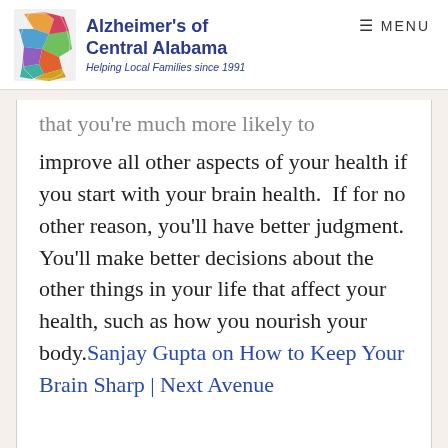Alzheimer's of Central Alabama – Helping Local Families since 1991 | MENU
that you're much more likely to improve all other aspects of your health if you start with your brain health.  If for no other reason, you'll have better judgment. You'll make better decisions about the other things in your life that affect your health, such as how you nourish your body.Sanjay Gupta on How to Keep Your Brain Sharp | Next Avenue